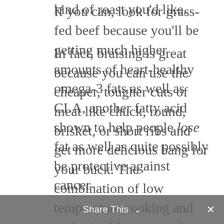kind of roast you'd like.
In fact, braising is great because you can use the cheaper, tougher cuts of meat like chuck, round, brisket, or short ribs and get more delicious bang for your buck. The combination of low temperature cooking and moist (ew) heat turns the toughness of the muscle and sinew into delightfully tender meat and really tasty (and so good for you!) broth.
If you can, look for grass-fed beef because you'll be getting much higher amounts of heart-healthy omega-3 fats as well as CLA, another fatty acid shown to help people lose fat as well as quite possibly be protective against cancer